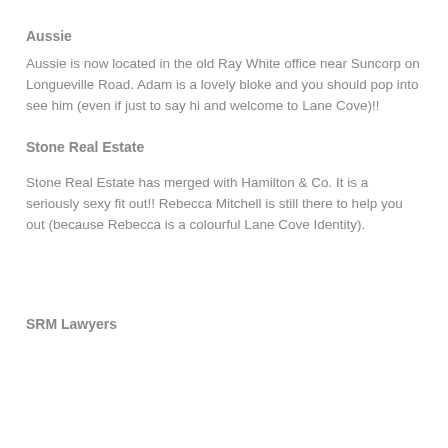Aussie
Aussie is now located in the old Ray White office near Suncorp on Longueville Road. Adam is a lovely bloke and you should pop into see him (even if just to say hi and welcome to Lane Cove)!!
Stone Real Estate
Stone Real Estate has merged with Hamilton & Co. It is a seriously sexy fit out!! Rebecca Mitchell is still there to help you out (because Rebecca is a colourful Lane Cove Identity).
SRM Lawyers